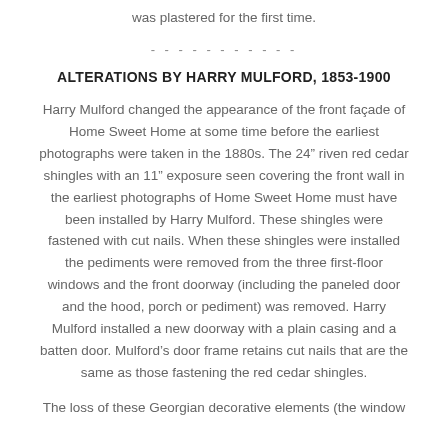was plastered for the first time.
- - - - - - - - - - -
ALTERATIONS BY HARRY MULFORD, 1853-1900
Harry Mulford changed the appearance of the front façade of Home Sweet Home at some time before the earliest photographs were taken in the 1880s. The 24" riven red cedar shingles with an 11" exposure seen covering the front wall in the earliest photographs of Home Sweet Home must have been installed by Harry Mulford. These shingles were fastened with cut nails. When these shingles were installed the pediments were removed from the three first-floor windows and the front doorway (including the paneled door and the hood, porch or pediment) was removed. Harry Mulford installed a new doorway with a plain casing and a batten door. Mulford's door frame retains cut nails that are the same as those fastening the red cedar shingles.
The loss of these Georgian decorative elements (the window